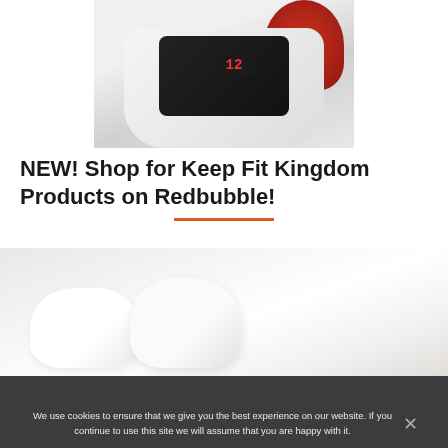[Figure (photo): Partial view of a white infrared lamp/therapy device with a red lamp head and digital display showing '12', photographed from above on white background]
NEW! Shop for Keep Fit Kingdom Products on Redbubble!
[Figure (photo): White bed with two white pillows against a light background]
We use cookies to ensure that we give you the best experience on our website. If you continue to use this site we will assume that you are happy with it.